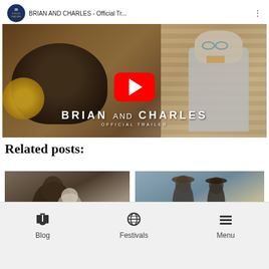[Figure (screenshot): YouTube video thumbnail for 'BRIAN AND CHARLES - Official Tr...' showing two characters — a bearded man and a robot-like figure — with a large red YouTube play button in the center. Film title 'BRIAN AND CHARLES OFFICIAL TRAILER' displayed at the bottom of the thumbnail.]
Related posts:
[Figure (photo): Thumbnail image of a scene with people, blurred cinematic style]
[Figure (photo): Thumbnail image of two people standing in an outdoor landscape]
Blog   Festivals   Menu